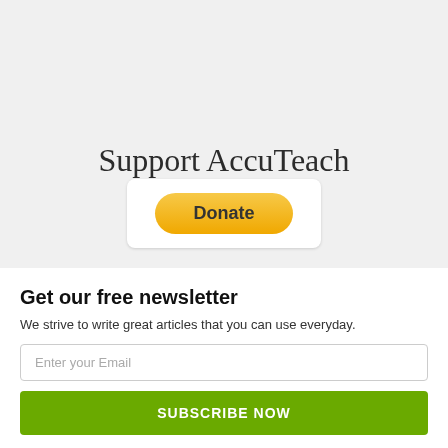Support AccuTeach
[Figure (other): PayPal Donate button with yellow rounded rectangle styling]
Get our free newsletter
We strive to write great articles that you can use everyday.
Enter your Email
SUBSCRIBE NOW